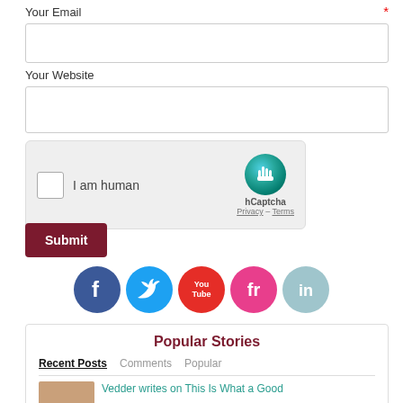Your Email *
[Figure (screenshot): Email input field (empty text box)]
Your Website
[Figure (screenshot): Website input field (empty text box)]
[Figure (screenshot): hCaptcha widget with checkbox 'I am human' and hCaptcha branding with Privacy - Terms links]
[Figure (screenshot): Submit button]
[Figure (screenshot): Social media icons: Facebook, Twitter, YouTube, Flickr (fr), LinkedIn]
Popular Stories
Recent Posts  Comments  Popular
Vedder writes on This Is What a Good